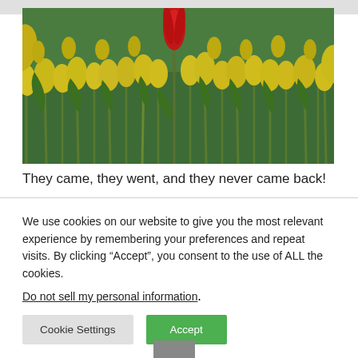[Figure (photo): A field of yellow tulips with a single red tulip standing out in the center, green stems and leaves visible throughout.]
They came, they went, and they never came back!
We use cookies on our website to give you the most relevant experience by remembering your preferences and repeat visits. By clicking “Accept”, you consent to the use of ALL the cookies.
Do not sell my personal information.